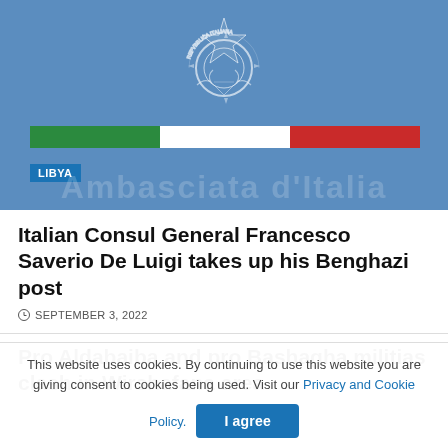[Figure (illustration): Italian Embassy website header banner with blue background, Italian Republic emblem/crest in white outline at center-top, Italian flag tricolor bar (green, white, red) below emblem, 'LIBYA' tag in blue box, and partial text 'Ambasciata d'Italia' at bottom of banner]
Italian Consul General Francesco Saverio De Luigi takes up his Benghazi post
SEPTEMBER 3, 2022
Pro Aldabaiba and pro Bashagha militias clash in Wirshafana area
This website uses cookies. By continuing to use this website you are giving consent to cookies being used. Visit our Privacy and Cookie Policy.
I agree